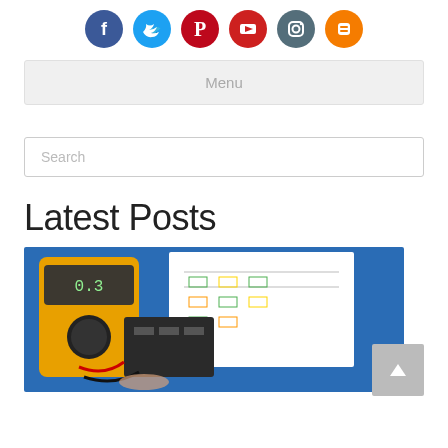[Figure (infographic): Row of 6 social media circular icon buttons: Facebook (dark blue), Twitter (light blue), Pinterest (red/crimson), YouTube (red), Instagram (steel blue/grey), Blogger (orange)]
Menu
Search
Latest Posts
[Figure (photo): Photo of a yellow Fluke digital multimeter on a blue surface next to an electrical circuit diagram on paper and a dark electronic component (IGBT module or similar), with red and black test leads being applied to the component by a person's hand.]